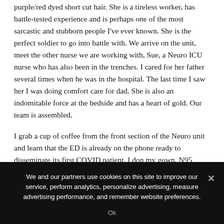purple/red dyed short cut hair. She is a tireless worker, has battle-tested experience and is perhaps one of the most sarcastic and stubborn people I've ever known. She is the perfect soldier to go into battle with. We arrive on the unit, meet the other nurse we are working with, Sue, a Neuro ICU nurse who has also been in the trenches. I cared for her father several times when he was in the hospital. The last time I saw her I was doing comfort care for dad. She is also an indomitable force at the bedside and has a heart of gold. Our team is assembled.
I grab a cup of coffee from the front section of the Neuro unit and learn that the ED is already on the phone ready to disseminate its first COVID patient. I don my gown, N95 mask, face shield and gloves and proceed to the back or ICU portion of the unit. I am back in the nightmare. The unit is horseshoe shaped with a front and back section. Our end of the unit, the back section, has a giant sucking HEPA filtering monster that pulls all the air from the front of the unit through the back of the
We and our partners use cookies on this site to improve our service, perform analytics, personalize advertising, measure advertising performance, and remember website preferences.
Ok